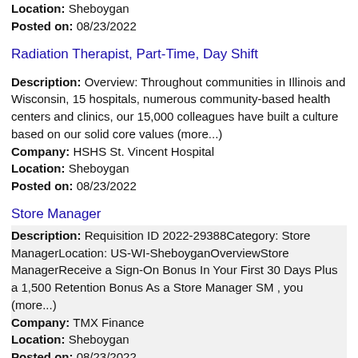Location: Sheboygan
Posted on: 08/23/2022
Radiation Therapist, Part-Time, Day Shift
Description: Overview: Throughout communities in Illinois and Wisconsin, 15 hospitals, numerous community-based health centers and clinics, our 15,000 colleagues have built a culture based on our solid core values (more...)
Company: HSHS St. Vincent Hospital
Location: Sheboygan
Posted on: 08/23/2022
Store Manager
Description: Requisition ID 2022-29388Category: Store ManagerLocation: US-WI-SheboyganOverviewStore ManagerReceive a Sign-On Bonus In Your First 30 Days Plus a 1,500 Retention Bonus As a Store Manager SM , you (more...)
Company: TMX Finance
Location: Sheboygan
Posted on: 08/23/2022
OB/GYN job in Oshkosh WI
Description: Weatherby can help you build a custom career plan, with multiple positions available for you